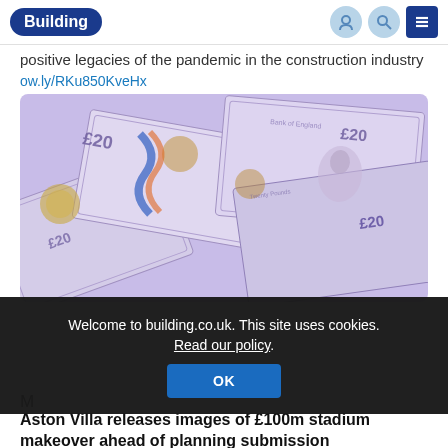Building
positive legacies of the pandemic in the construction industry
ow.ly/RKu850KveHx
[Figure (photo): Photo of UK £20 banknotes spread out]
Welcome to building.co.uk. This site uses cookies. Read our policy.
OK
M
Aston Villa releases images of £100m stadium makeover ahead of planning submission